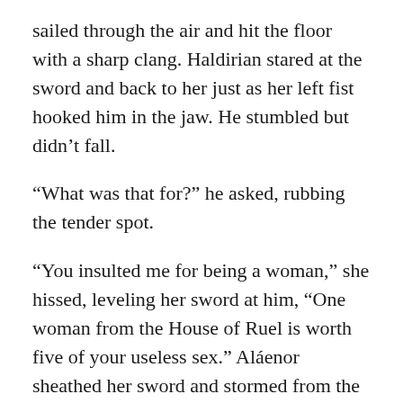sailed through the air and hit the floor with a sharp clang. Haldirian stared at the sword and back to her just as her left fist hooked him in the jaw. He stumbled but didn't fall.
“What was that for?” he asked, rubbing the tender spot.
“You insulted me for being a woman,” she hissed, leveling her sword at him, “One woman from the House of Ruel is worth five of your useless sex.” Aláenor sheathed her sword and stormed from the hall before she drew blood.